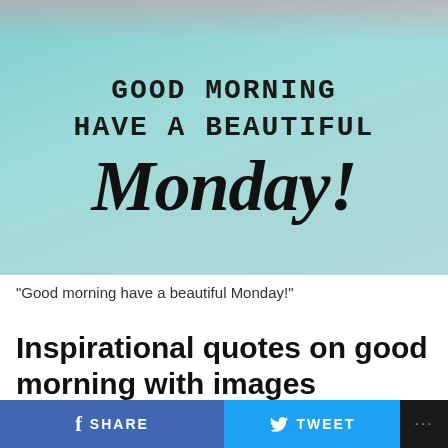[Figure (illustration): Inspirational greeting image with teal/turquoise background showing text: 'GOOD MORNING HAVE A BEAUTIFUL Monday!' in mixed typewriter and cursive script fonts]
“Good morning have a beautiful Monday!”
Inspirational quotes on good morning with images
f SHARE   TWEET   ...